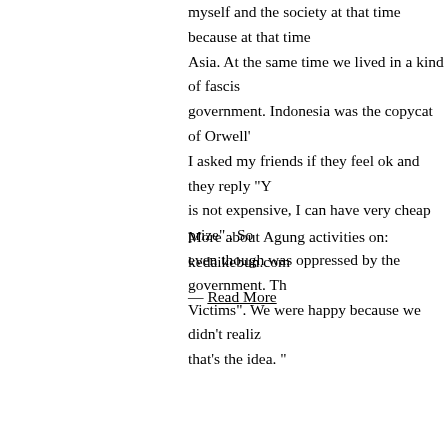myself and the society at that time because at that time Asia. At the same time we lived in a kind of fascist government. Indonesia was the copycat of Orwell' I asked my friends if they feel ok and they reply "Y is not expensive, I can have very cheap prize" . So even though was oppressed by the government. Th Victims". We were happy because we didn't realiz that's the idea. "
More about Agung activities on: kedaikebun.com
— Read More